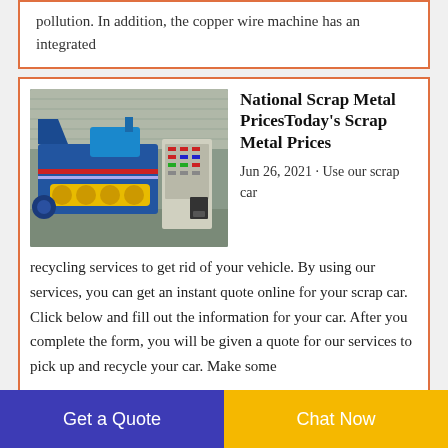pollution. In addition, the copper wire machine has an integrated
[Figure (photo): Blue and yellow industrial scrap metal processing machine with control panel, photographed in a warehouse.]
National Scrap Metal PricesToday's Scrap Metal Prices
Jun 26, 2021 · Use our scrap car recycling services to get rid of your vehicle. By using our services, you can get an instant quote online for your scrap car. Click below and fill out the information for your car. After you complete the form, you will be given a quote for our services to pick up and recycle your car. Make some
Get a Quote
Chat Now